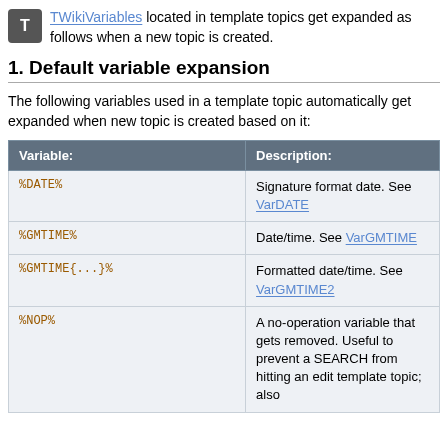TWikiVariables located in template topics get expanded as follows when a new topic is created.
1. Default variable expansion
The following variables used in a template topic automatically get expanded when new topic is created based on it:
| Variable: | Description: |
| --- | --- |
| %DATE% | Signature format date. See VarDATE |
| %GMTIME% | Date/time. See VarGMTIME |
| %GMTIME{...}% | Formatted date/time. See VarGMTIME2 |
| %NOP% | A no-operation variable that gets removed. Useful to prevent a SEARCH from hitting an edit template topic; also |